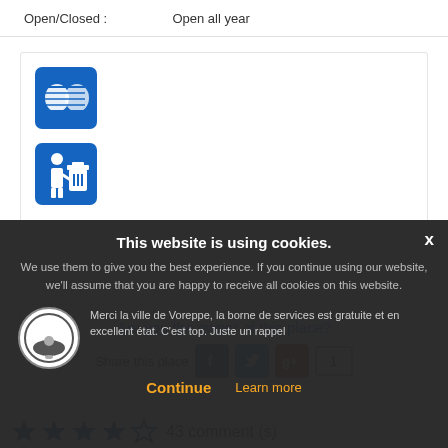Open/Closed :    Open all year
[Figure (illustration): Blue square icon with bread/food symbol (white on blue background)]
[Figure (illustration): Blue square icon with person and trash bin symbol (white on blue background)]
Are you the owner of this place?
Share this place
[Figure (logo): Facebook share button]
[Figure (logo): Twitter share button]
[Figure (logo): Google+ share button]
1
[Figure (illustration): 4 filled blue stars and 1 empty star rating]
43 comment (s)
[Figure (illustration): Circular avatar with car/vehicle icon]
Merci la ville de Voreppe, la borne de services est gratuite et en excellent état. C'est top. Juste un rappel
This website is using cookies. We use them to give you the best experience. If you continue using our website, we'll assume that you are happy to receive all cookies on this website.
Continue   Learn more